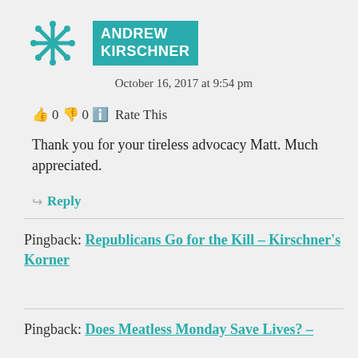[Figure (logo): Teal snowflake/star avatar icon for Andrew Kirschner]
ANDREW KIRSCHNER
October 16, 2017 at 9:54 pm
👍 0 👎 0 ℹ Rate This
Thank you for your tireless advocacy Matt. Much appreciated.
↪ Reply
Pingback: Republicans Go for the Kill – Kirschner's Korner
Pingback: Does Meatless Monday Save Lives? –